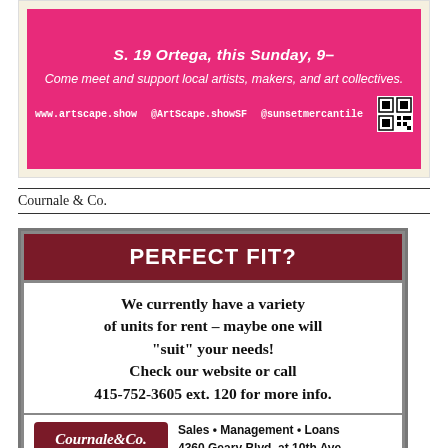[Figure (infographic): Pink/magenta advertisement for ArtScape show with website links and QR code]
Cournale & Co.
[Figure (infographic): Advertisement for Cournale & Co. rental units with 'PERFECT FIT?' header, body text about units for rent, phone number 415-752-3605 ext. 120, logo and address 4360 Geary Blvd. at 10th Ave.]